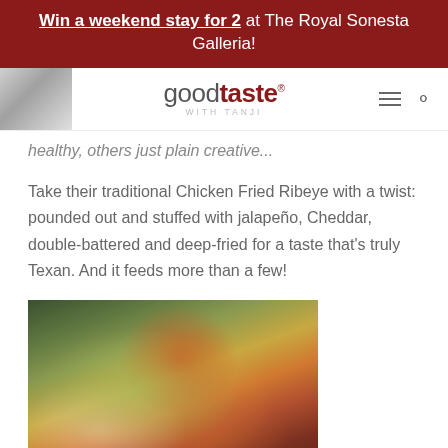Win a weekend stay for 2 at The Royal Sonesta Galleria!
[Figure (screenshot): Good Taste with Tanji website navigation bar with logo and person photo]
healthy, others just plain creative...
Take their traditional Chicken Fried Ribeye with a twist: pounded out and stuffed with jalapeño, Cheddar, double-battered and deep-fried for a taste that's truly Texan. And it feeds more than a few!
[Figure (photo): A plated wedge salad with toppings including tomatoes, crumbled cheese, and sauce on a white plate]